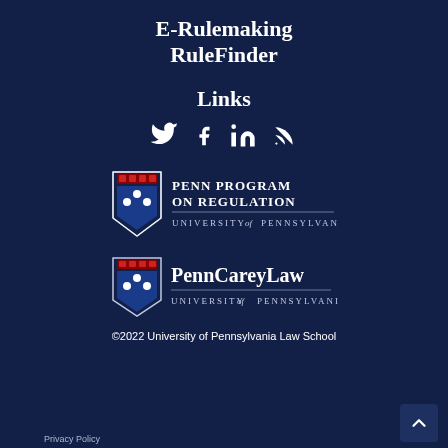E-Rulemaking RuleFinder
Links
[Figure (other): Social media icons: Twitter, Facebook, LinkedIn, RSS feed]
[Figure (logo): Penn Program on Regulation, University of Pennsylvania logo]
[Figure (logo): Penn Carey Law, University of Pennsylvania logo]
©2022 University of Pennsylvania Law School
Privacy Policy